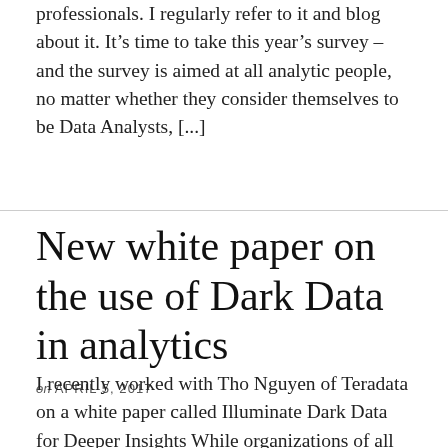professionals. I regularly refer to it and blog about it. It's time to take this year's survey – and the survey is aimed at all analytic people, no matter whether they consider themselves to be Data Analysts, [...]
New white paper on the use of Dark Data in analytics
on APRIL 5, 2017
I recently worked with Tho Nguyen of Teradata on a white paper called Illuminate Dark Data for Deeper Insights While organizations of all sizes across all industries are keen on becoming data-driven, most focus on only a fraction of the many types of available data. Not accessing a fuller spectrum of